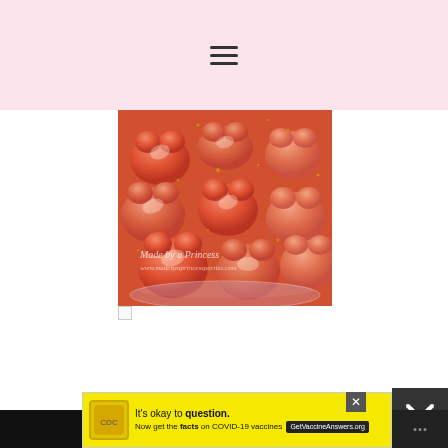Navigation menu header with hamburger icon on pink background
[Figure (photo): Close-up photo of orange/pink gummy bears in a glass bowl, sprinkled with gold glitter dust. Watermark text reads 'Made by a Princess' and 'www.madebyaprincessparties.com']
[Figure (infographic): Advertisement banner: 'It's okay to question. Now get the facts on COVID-19 vaccines GetVaccineAnswers.org' on yellow background with close button]